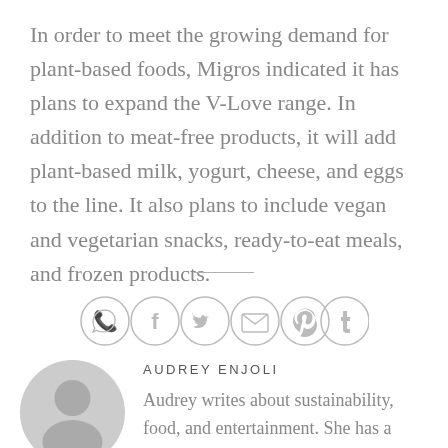In order to meet the growing demand for plant-based foods, Migros indicated it has plans to expand the V-Love range. In addition to meat-free products, it will add plant-based milk, yogurt, cheese, and eggs to the line. It also plans to include vegan and vegetarian snacks, ready-to-eat meals, and frozen products.
[Figure (other): Social share icons row: WhatsApp, Facebook, Twitter, Email, Pinterest, Tumblr — each in a light grey circle outline]
[Figure (illustration): Grey silhouette avatar of a person (head and shoulders) used as author profile picture]
AUDREY ENJOLI
Audrey writes about sustainability, food, and entertainment. She has a bachelor's degree in broadcast